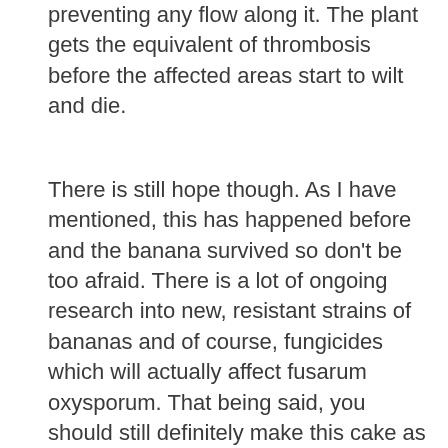preventing any flow along it. The plant gets the equivalent of thrombosis before the affected areas start to wilt and die.
There is still hope though. As I have mentioned, this has happened before and the banana survived so don't be too afraid. There is a lot of ongoing research into new, resistant strains of bananas and of course, fungicides which will actually affect fusarum oxysporum. That being said, you should still definitely make this cake as soon as you can because it would be a shame to miss the opportunity. The cake takes the classic flavours of a banoffee pie and transfers them into a new form: banana bread style layers sandwiched with caramel buttercream and brûléed bananas. It simply must be tried to be